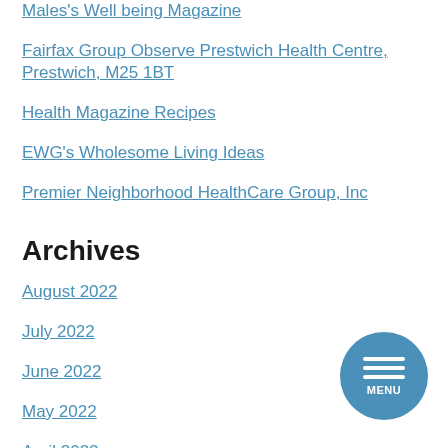Males's Well being Magazine
Fairfax Group Observe Prestwich Health Centre, Prestwich, M25 1BT
Health Magazine Recipes
EWG's Wholesome Living Ideas
Premier Neighborhood HealthCare Group, Inc
Archives
August 2022
July 2022
June 2022
May 2022
April 2022